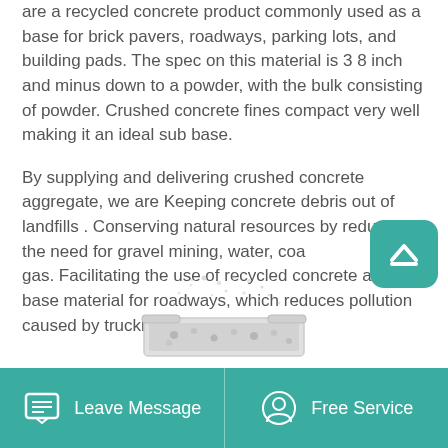are a recycled concrete product commonly used as a base for brick pavers, roadways, parking lots, and building pads. The spec on this material is 3 8 inch and minus down to a powder, with the bulk consisting of powder. Crushed concrete fines compact very well making it an ideal sub base.
By supplying and delivering crushed concrete aggregate, we are Keeping concrete debris out of landfills . Conserving natural resources by reducing the need for gravel mining, water, coal and gas. Facilitating the use of recycled concrete as a base material for roadways, which reduces pollution caused by trucking material.
[Figure (photo): Partial image of crushed concrete or gravel material being poured or spread, with scattered particles visible against white background.]
Leave Message   Free Service